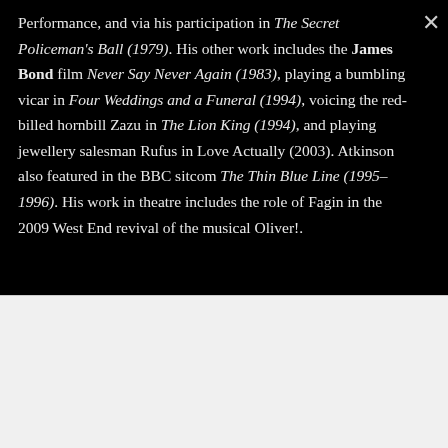Performance, and via his participation in The Secret Policeman's Ball (1979). His other work includes the James Bond film Never Say Never Again (1983), playing a bumbling vicar in Four Weddings and a Funeral (1994), voicing the red-billed hornbill Zazu in The Lion King (1994), and playing jewellery salesman Rufus in Love Actually (2003). Atkinson also featured in the BBC sitcom The Thin Blue Line (1995–1996). His work in theatre includes the role of Fagin in the 2009 West End revival of the musical Oliver!.
[Figure (other): White/light grey rectangular area at bottom of page, partially visible]